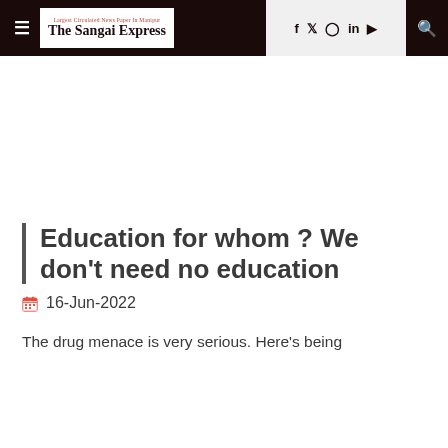The Sangai Express — navigation header with menu, logo, social icons (f, Twitter, Instagram, in, YouTube), and search
Education for whom ? We don't need no education
16-Jun-2022
The drug menace is very serious. Here's being...